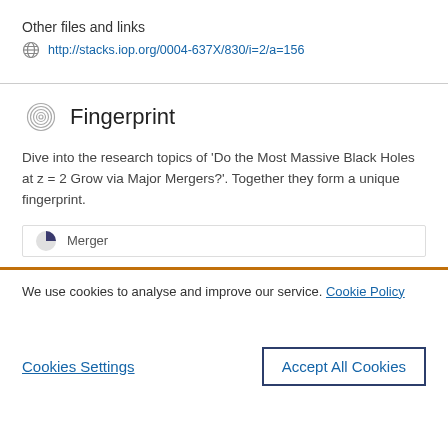Other files and links
http://stacks.iop.org/0004-637X/830/i=2/a=156
Fingerprint
Dive into the research topics of 'Do the Most Massive Black Holes at z = 2 Grow via Major Mergers?'. Together they form a unique fingerprint.
Merger
We use cookies to analyse and improve our service. Cookie Policy
Cookies Settings
Accept All Cookies